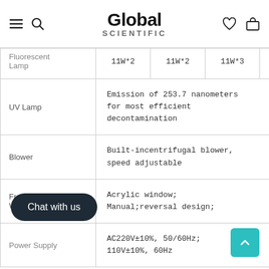Global Scientific
| Feature | Value |
| --- | --- |
| Fluorescent Lamp | 11W*2 | 11W*2 | 11W*3 | 11W*4 |
| UV Lamp | Emission of 253.7 nanometers for most efficient decontamination |
| Blower | Built-incentrifugal blower, speed adjustable |
| Front Window | Acrylic window; Manual;reversal design; |
| Power Supply | AC220V±10%, 50/60Hz; 110V±10%, 60Hz |